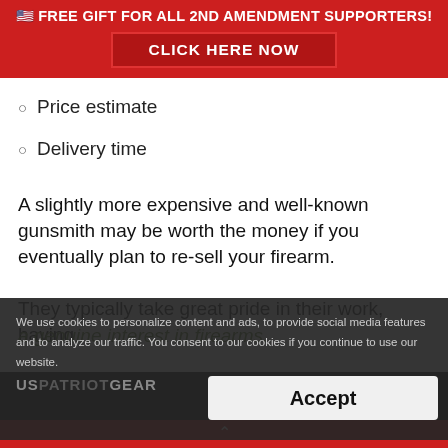🇺🇸 FREE GIFT FOR ALL 2ND AMENDMENT SUPPORTERS! CLICK HERE NOW
Price estimate
Delivery time
A slightly more expensive and well-known gunsmith may be worth the money if you eventually plan to re-sell your firearm.
They typically take great pride in their work, having a genuine interest in firearms.
We use cookies to personalize content and ads, to provide social media features and to analyze our traffic. You consent to our cookies if you continue to use our website.
[Figure (logo): USPATRIOTGEAR logo in grey text]
Accept